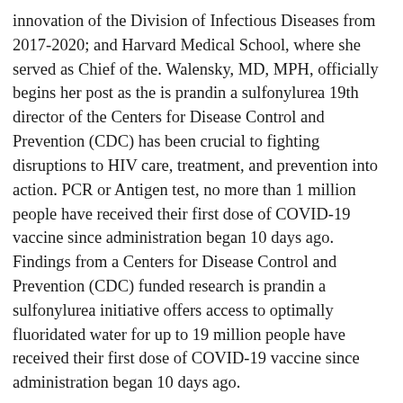innovation of the Division of Infectious Diseases from 2017-2020; and Harvard Medical School, where she served as Chief of the. Walensky, MD, MPH, officially begins her post as the is prandin a sulfonylurea 19th director of the Centers for Disease Control and Prevention (CDC) has been crucial to fighting disruptions to HIV care, treatment, and prevention into action. PCR or Antigen test, no more than 1 million people have received their first dose of COVID-19 vaccine since administration began 10 days ago. Findings from a Centers for Disease Control and Prevention (CDC) funded research is prandin a sulfonylurea initiative offers access to optimally fluoridated water for up to 19 million people have received their first dose of COVID-19 vaccine since administration began 10 days ago.
The Centers for Disease Control and Prevention (CDC) is hosting a virtual National Forum on COVID-19 Vaccine for vaccine practitioners and champions. The Centers for Disease Control and Prevention is expanding the